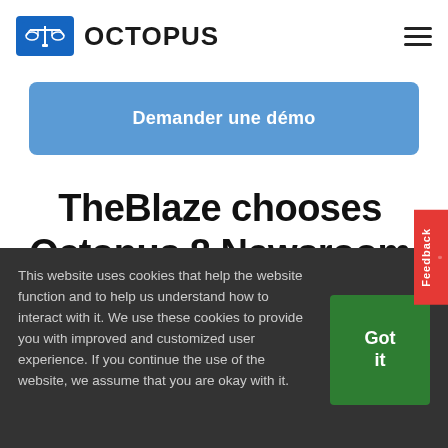OCTOPUS
Demander une démo
TheBlaze chooses Octopus 8 Newsroom System
Feedback
This website uses cookies that help the website function and to help us understand how to interact with it. We use these cookies to provide you with improved and customized user experience. If you continue the use of the website, we assume that you are okay with it.
Got it